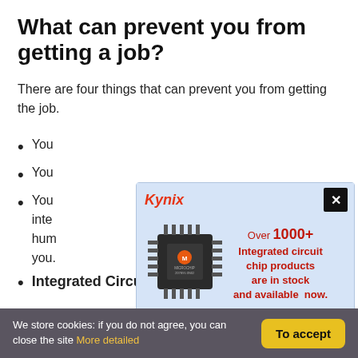What can prevent you from getting a job?
There are four things that can prevent you from getting the job.
You…
You…
You… inte… in hum… ch for you.
…
[Figure (advertisement): Kynix advertisement popup showing a Microchip integrated circuit chip with text 'Over 1000+ Integrated circuit chip products are in stock and available now.' and a close button. Footer reads 'Integrated Circuits Supplier'.]
We store cookies: if you do not agree, you can close the site More detailed | To accept